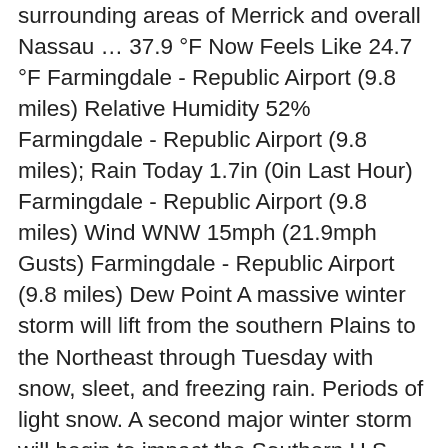surrounding areas of Merrick and overall Nassau … 37.9 °F Now Feels Like 24.7 °F Farmingdale - Republic Airport (9.8 miles) Relative Humidity 52% Farmingdale - Republic Airport (9.8 miles); Rain Today 1.7in (0in Last Hour) Farmingdale - Republic Airport (9.8 miles) Wind WNW 15mph (21.9mph Gusts) Farmingdale - Republic Airport (9.8 miles) Dew Point A massive winter storm will lift from the southern Plains to the Northeast through Tuesday with snow, sleet, and freezing rain. Periods of light snow. A second major winter storm will begin to impact the Southern U.S. today, bringing heavy snow and icing to areas recently impacted by winter weather before moving east. MyForecast is a comprehensive resource for online weather forecasts and reports for over 58,000 locations worldwide. Highs in the mid 30s. Plan you week with the help of our 10-day weather forecasts and weekend weather predictions for Merrick, New York . Find the most current and reliable 7 day weather forecasts, storm alerts, reports and information for [city] with The Weather Network. Heavy snow